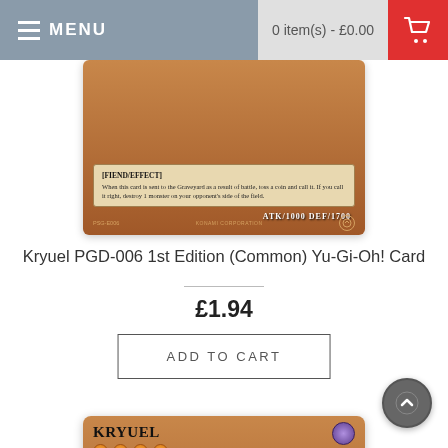MENU   0 item(s) - £0.00
[Figure (photo): Bottom portion of a Yu-Gi-Oh! card showing brown border, text box with [FIEND/EFFECT] effect text, and ATK/1000 DEF/1700 stats]
Kryuel PGD-006 1st Edition (Common) Yu-Gi-Oh! Card
£1.94
ADD TO CART
[Figure (photo): Yu-Gi-Oh! card showing Kryuel monster card with brown border, card name KRYUEL, purple attribute icon, 4 orange star rating circles, and monster artwork featuring a dark creature with an orange eye on a green background]